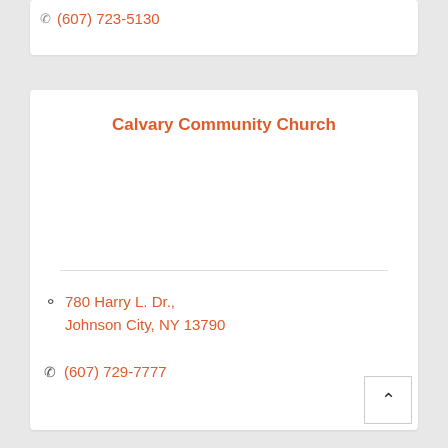(607) 723-5130
Calvary Community Church
780 Harry L. Dr., Johnson City, NY 13790
(607) 729-7777